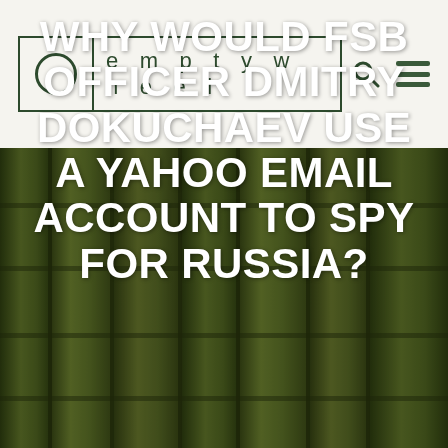emptywheel
[Figure (photo): Dark olive-toned bamboo stalks forming a textured background]
WHY WOULD FSB OFFICER DMITRY DOKUCHAEV USE A YAHOO EMAIL ACCOUNT TO SPY FOR RUSSIA?